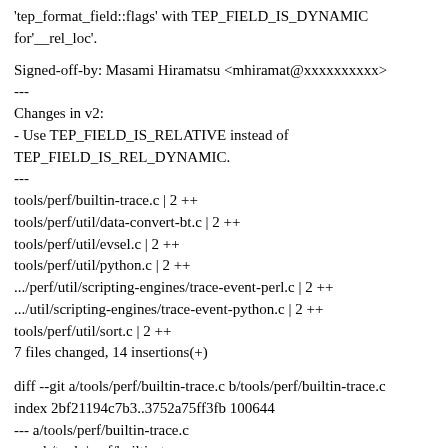'tep_format_field::flags' with TEP_FIELD_IS_DYNAMIC for'__rel_loc'.
Signed-off-by: Masami Hiramatsu <mhiramat@xxxxxxxxxx>
---
Changes in v2:
- Use TEP_FIELD_IS_RELATIVE instead of TEP_FIELD_IS_REL_DYNAMIC.
---
tools/perf/builtin-trace.c | 2 ++
tools/perf/util/data-convert-bt.c | 2 ++
tools/perf/util/evsel.c | 2 ++
tools/perf/util/python.c | 2 ++
.../perf/util/scripting-engines/trace-event-perl.c | 2 ++
.../util/scripting-engines/trace-event-python.c | 2 ++
tools/perf/util/sort.c | 2 ++
7 files changed, 14 insertions(+)
diff --git a/tools/perf/builtin-trace.c b/tools/perf/builtin-trace.c
index 2bf21194c7b3..3752a75ff3fb 100644
--- a/tools/perf/builtin-trace.c
+++ b/tools/perf/builtin-trace.c
@@ -2722,6 +2722,8 @@ static size_t
trace__fprintf_tp_fields(struct trace *trace, struct evsel *evsel,
offset = format_field__intval(field, sample, evsel->needs_swap);